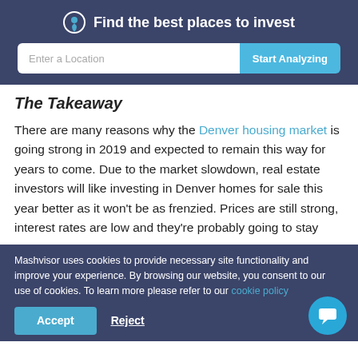Find the best places to invest
The Takeaway
There are many reasons why the Denver housing market is going strong in 2019 and expected to remain this way for years to come. Due to the market slowdown, real estate investors will like investing in Denver homes for sale this year better as it won't be as frenzied. Prices are still strong, interest rates are low and they're probably going to stay
Mashvisor uses cookies to provide necessary site functionality and improve your experience. By browsing our website, you consent to our use of cookies. To learn more please refer to our cookie policy
Accept | Reject